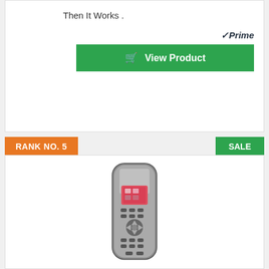Then It Works .
[Figure (logo): Amazon Prime logo with checkmark]
View Product
RANK NO. 5
SALE
[Figure (photo): Logitech Harmony 650 universal remote control, silver, with color screen]
Logitech Harmony 650 Infrared All in One Remote Control, Universal Remote Logitech, Programmable Remote (Silver)
Replaces up to 5 other remotes, reducing